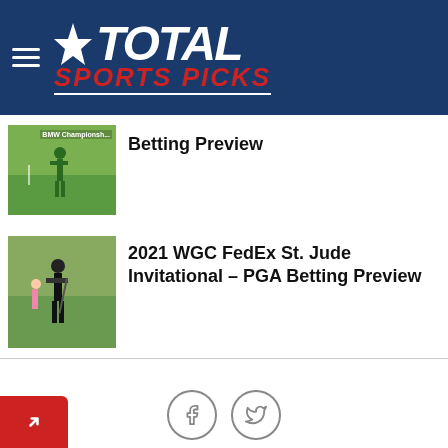Total Sports Picks
[Figure (photo): BMW Championship golf thumbnail - golfer on green]
Betting Preview
[Figure (photo): 2021 WGC FedEx St. Jude Invitational - golfer in black standing on course]
2021 WGC FedEx St. Jude Invitational – PGA Betting Preview
[Figure (other): Facebook and Twitter social share icons]